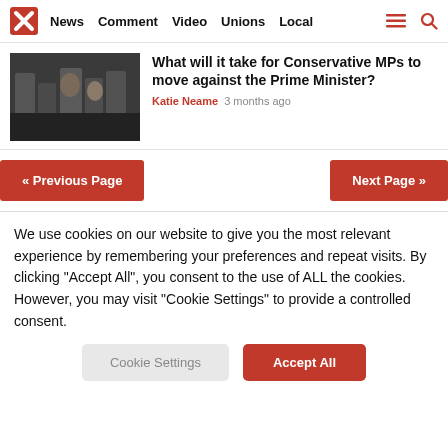News  Comment  Video  Unions  Local
What will it take for Conservative MPs to move against the Prime Minister?
Katie Neame  3 months ago
« Previous Page   Next Page »
We use cookies on our website to give you the most relevant experience by remembering your preferences and repeat visits. By clicking "Accept All", you consent to the use of ALL the cookies. However, you may visit "Cookie Settings" to provide a controlled consent.
Cookie Settings   Accept All